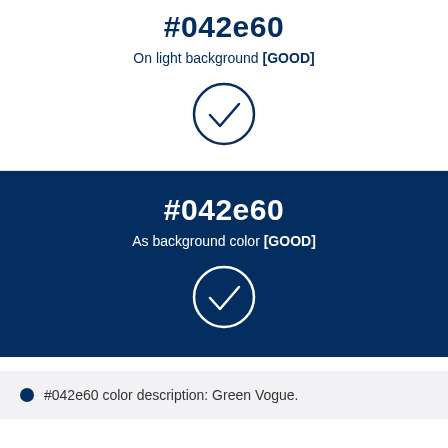#042e60
On light background [GOOD]
[Figure (illustration): Checkmark icon in a circle, dark blue on white background]
#042e60
As background color [GOOD]
[Figure (illustration): Checkmark icon in a circle, white on dark blue background]
#042e60 color description: Green Vogue.